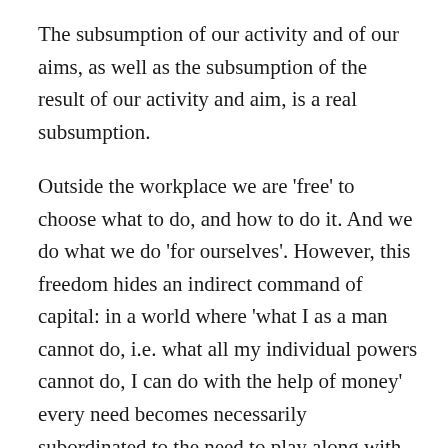The subsumption of our activity and of our aims, as well as the subsumption of the result of our activity and aim, is a real subsumption.
Outside the workplace we are 'free' to choose what to do, and how to do it. And we do what we do 'for ourselves'. However, this freedom hides an indirect command of capital: in a world where 'what I as a man cannot do, i.e. what all my individual powers cannot do, I can do with the help of money' every need becomes necessarily subordinated to the need to play along with the market and its laws. 32 Even leisure is conditioned by what we can afford, both in terms of money, and time, since time is money. If we are in a position to spend time and resources in leisure and/or education, we may tend to spend more time in leisure and/or courses that are useful to improve or maintain